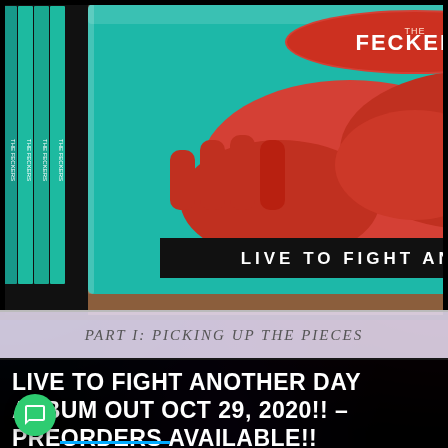[Figure (photo): Photo of The Feckers CD album 'Live To Fight Another Day' — a CD case showing a red handshake graphic on teal/blue background, with multiple CD copies stacked behind it. Album title text reads 'LIVE TO FIGHT ANOTHER DAY' on the spine. Brown wooden surface visible below.]
PART I: PICKING UP THE PIECES
LIVE TO FIGHT ANOTHER DAY ALBUM OUT OCT 29, 2020!! – PREORDERS AVAILABLE!!